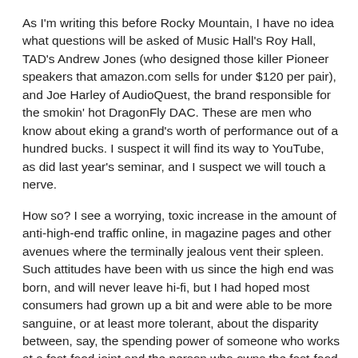As I'm writing this before Rocky Mountain, I have no idea what questions will be asked of Music Hall's Roy Hall, TAD's Andrew Jones (who designed those killer Pioneer speakers that amazon.com sells for under $120 per pair), and Joe Harley of AudioQuest, the brand responsible for the smokin' hot DragonFly DAC. These are men who know about eking a grand's worth of performance out of a hundred bucks. I suspect it will find its way to YouTube, as did last year's seminar, and I suspect we will touch a nerve.
How so? I see a worrying, toxic increase in the amount of anti-high-end traffic online, in magazine pages and other avenues where the terminally jealous vent their spleen. Such attitudes have been with us since the high end was born, and will never leave hi-fi, but I had hoped most consumers had grown up a bit and were able to be more sanguine, or at least more tolerant, about the disparity between, say, the spending power of someone who works at a fast-food joint and the person who owns the fast-food joint.
Like I've said many times, don't throw rocks at the guy with the Ferrari just because you aren't in a position to earn the money to buy one.